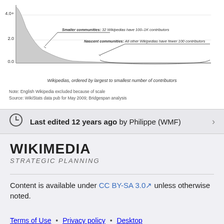[Figure (continuous-plot): Area/histogram chart showing Wikipedias ordered by largest to smallest number of contributors, with y-axis values 0.0, 2.0, 4.0+ and annotated regions: 'Smaller communities: 32 Wikipedias have 100-1K contributors' and 'Nascent communities: All other Wikipedias have fewer 100 contributors']
Wikipedias, ordered by largest to smallest number of contributors
Note: English Wikipedia excluded because of scale
Source: WikiStats data pub for May 2009; Bridgespan analysis
Last edited 12 years ago by Philippe (WMF)
[Figure (logo): Wikimedia Strategic Planning logo]
Content is available under CC BY-SA 3.0 unless otherwise noted.
Terms of Use • Privacy policy • Desktop